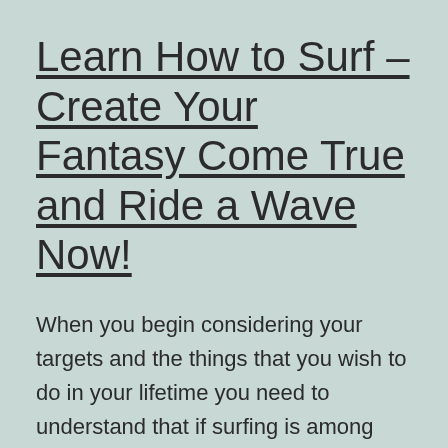Learn How to Surf – Create Your Fantasy Come True and Ride a Wave Now!
When you begin considering your targets and the things that you wish to do in your lifetime you need to understand that if surfing is among these you have lots of choices when if you would like to learn how to navigate. It is possible to use one of these choices to work